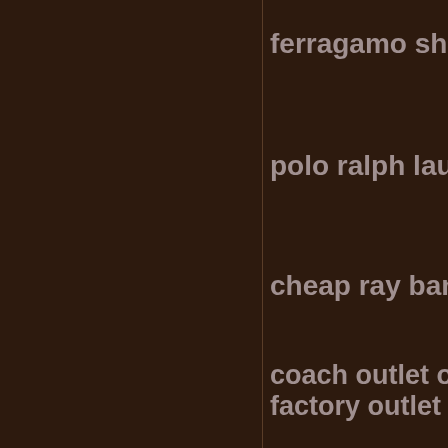ferragamo shoe
polo ralph laur
cheap ray ban
coach outlet on
factory outlet
ray ban sungla